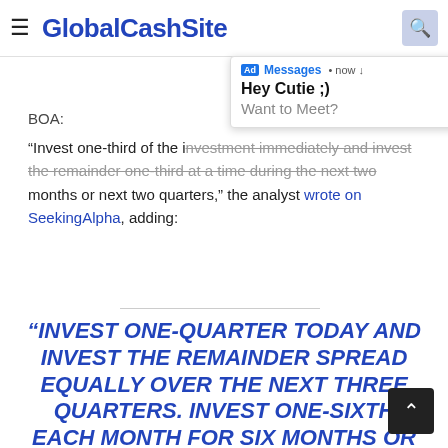GlobalCashSite
[Figure (screenshot): Ad overlay notification showing 'Ad Messages • now' with message 'Hey Cutie ;) Want to Meet?']
BOA:
“Invest one-third of the investment immediately and invest the remainder one-third at a time during the next two months or next two quarters,” the analyst wrote on SeekingAlpha, adding:
“INVEST ONE-QUARTER TODAY AND INVEST THE REMAINDER SPREAD EQUALLY OVER THE NEXT THREE QUARTERS. INVEST ONE-SIXTH EACH MONTH FOR SIX MONTHS OR EVERY OTHER MONTH.”